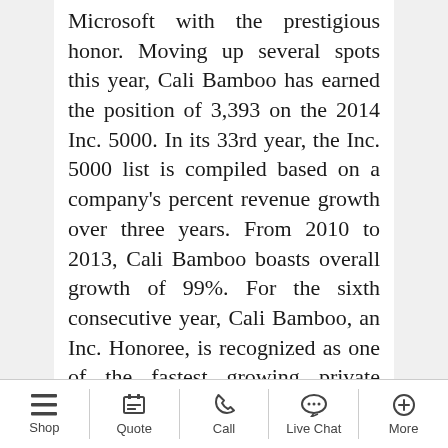Microsoft with the prestigious honor. Moving up several spots this year, Cali Bamboo has earned the position of 3,393 on the 2014 Inc. 5000. In its 33rd year, the Inc. 5000 list is compiled based on a company's percent revenue growth over three years. From 2010 to 2013, Cali Bamboo boasts overall growth of 99%. For the sixth consecutive year, Cali Bamboo, an Inc. Honoree, is recognized as one of the fastest growing private companies in America. Celebrating its 10 year anniversary this August, Cali Bamboo has grown from a single product and a delivery van in 2004, to multiple national warehouses and dozens of high-quality, sustainable materials including bamboo flooring.
Shop | Quote | Call | Live Chat | More